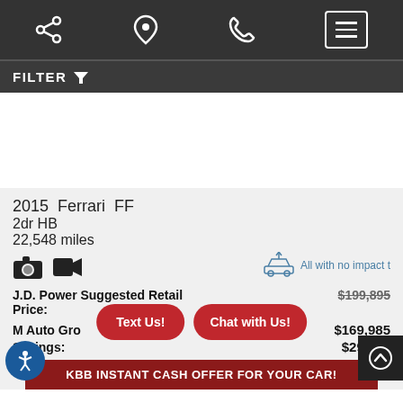Navigation bar with share, location, phone, and menu icons
FILTER
[Figure (other): White blank image area (car image placeholder)]
2015 Ferrari FF
2dr HB
22,548 miles
J.D. Power Suggested Retail Price: $199,895
M Auto Group Price: $169,985
Savings: $29,910
Text Us!
Chat with Us!
All with no impact t
KBB INSTANT CASH OFFER FOR YOUR CAR!